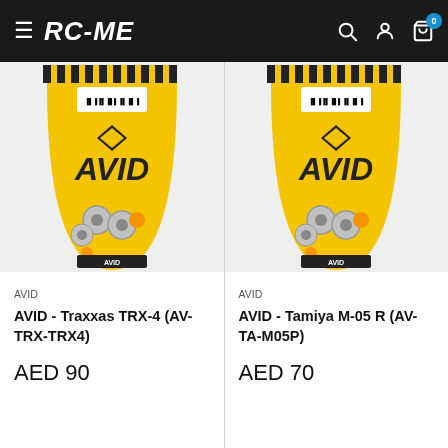RC-ME — navigation bar with hamburger menu, search, account, and cart (0 items)
AVID
AVID - Traxxas TRX-4 (AV-TRX-TRX4)
AED 90
AVID
AVID - Tamiya M-05 R (AV-TA-M05P)
AED 70